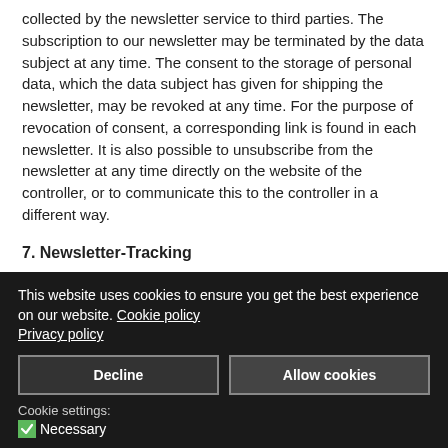collected by the newsletter service to third parties. The subscription to our newsletter may be terminated by the data subject at any time. The consent to the storage of personal data, which the data subject has given for shipping the newsletter, may be revoked at any time. For the purpose of revocation of consent, a corresponding link is found in each newsletter. It is also possible to unsubscribe from the newsletter at any time directly on the website of the controller, or to communicate this to the controller in a different way.
7. Newsletter-Tracking
This website uses cookies to ensure you get the best experience on our website. Cookie policy Privacy policy
Cookie settings: Necessary